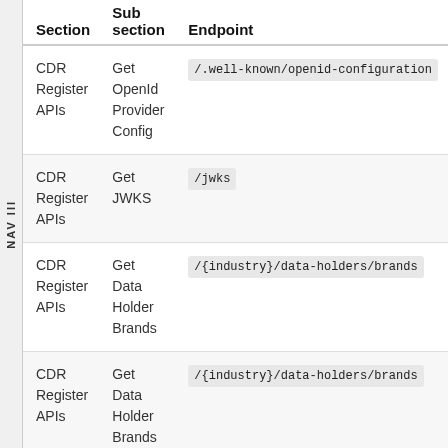| Section | Sub section | Endpoint |
| --- | --- | --- |
| CDR Register APIs | Get OpenId Provider Config | /.well-known/openid-configuration |
| CDR Register APIs | Get JWKS | /jwks |
| CDR Register APIs | Get Data Holder Brands | /{industry}/data-holders/brands |
| CDR Register APIs | Get Data Holder Brands | /{industry}/data-holders/brands |
| CDR | Get | /{industry}/data-recipients/ |